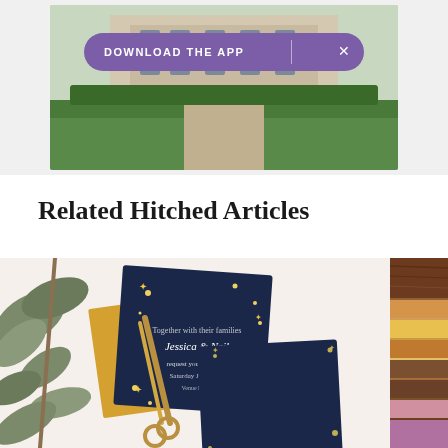[Figure (photo): Top portion of a venue/building photo partially visible with a purple 'DOWNLOAD THE APP' banner overlay with an X close button]
Related Hitched Articles
[Figure (photo): A flat-lay photo of navy blue wedding invitation cards with gold star/confetti design (Jessica & Neil names visible), yellow/gold envelope, eucalyptus greenery, and gold scissors on white background. A partial second image showing wood grain and color swatches is visible at the right edge.]